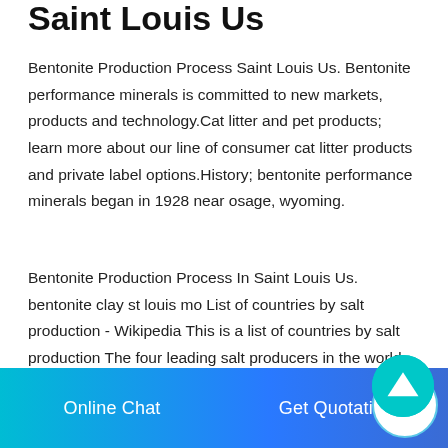Saint Louis Us
Bentonite Production Process Saint Louis Us. Bentonite performance minerals is committed to new markets, products and technology.Cat litter and pet products; learn more about our line of consumer cat litter products and private label options.History; bentonite performance minerals began in 1928 near osage, wyoming.
Bentonite Production Process In Saint Louis Us. bentonite clay st louis mo List of countries by salt production - Wikipedia This is a list of countries by salt production The four leading salt producers in the world, India, the United States, China, and Germany. account for more than half . I use the bentonite clay
Online Chat   Get Quotation